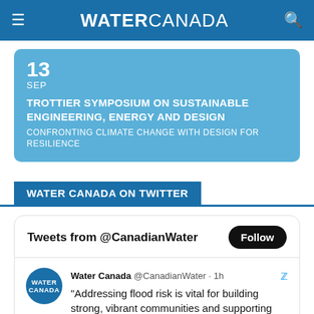WATER CANADA
13 SEP
TROTTIER SYMPOSIUM ON SUSTAINABLE ENGINEERING, ENERGY AND DESIGN
CONFRONTING CLIMATE CHANGE WITH DESIGN FOR RESILIENCE
WATER CANADA ON TWITTER
Tweets from @CanadianWater
Water Canada @CanadianWater · 1h
"Addressing flood risk is vital for building strong, vibrant communities and supporting continued economic growth." @JohnLohrPC